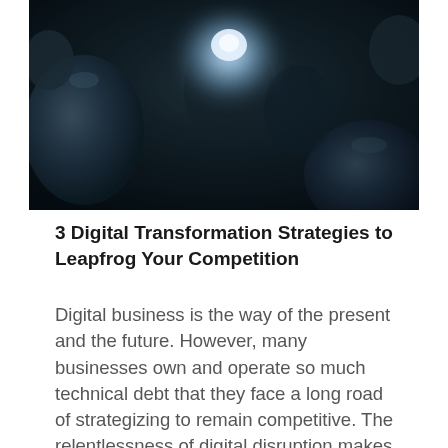[Figure (photo): Dark close-up photograph of light bulbs with one glowing brightly, set against a dark background]
3 Digital Transformation Strategies to Leapfrog Your Competition
Digital business is the way of the present and the future. However, many businesses own and operate so much technical debt that they face a long road of strategizing to remain competitive. The relentlessness of digital disruption makes it impractical for businesses to operate in the same way they have for decades. Consequently, digital